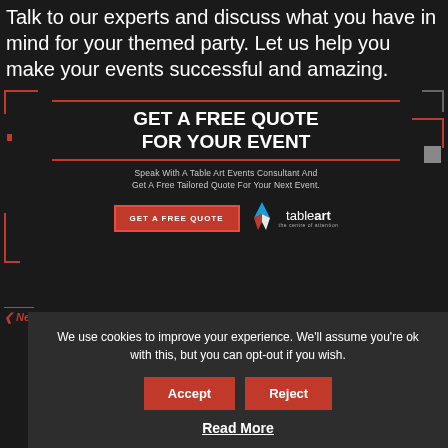Talk to our experts and discuss what you have in mind for your themed party. Let us help you make your events successful and amazing.
[Figure (infographic): Dark background promotional banner: GET A FREE QUOTE FOR YOUR EVENT with red decorative corner elements, subtext about speaking with a Table Art Events Consultant, a red GET A FREE QUOTE button, and the Table Art logo with flame icon]
[Figure (infographic): Cookie consent popup overlay: 'We use cookies to improve your experience. We'll assume you're ok with this, but you can opt-out if you wish.' with Accept and Reject buttons and a Read More link]
New York Ne...